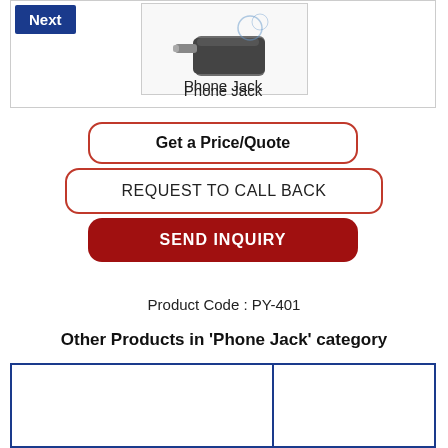[Figure (photo): Product image area showing a phone jack connector with a 'Next' button on the left]
Phone Jack
Get a Price/Quote
REQUEST TO CALL BACK
SEND INQUIRY
Product Code : PY-401
Other Products in 'Phone Jack' category
[Figure (photo): Other products in Phone Jack category - product thumbnails area]